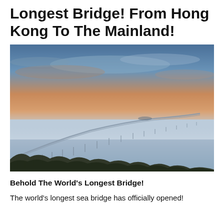Longest Bridge! From Hong Kong To The Mainland!
[Figure (photo): Aerial/elevated view of a long sea bridge curving across calm blue-grey water under a dramatic sunset sky with orange and blue hues, with dark vegetation silhouetted in the foreground.]
Behold The World's Longest Bridge!
The world's longest sea bridge has officially opened!